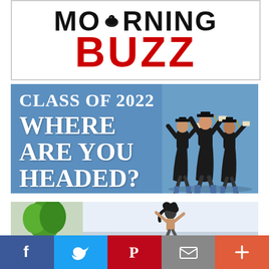[Figure (logo): Morning Buzz logo: 'MORNING' in black bold with a coffee cup icon replacing the letter O, and 'BUZZ' in large red bold text below]
[Figure (infographic): Class of 2022 promotional banner with blue background. Text reads 'CLASS OF 2022 WHERE ARE YOU HEADED?' in white serif font on the left side. On the right side, three graduating students in black caps and gowns are jumping in celebration.]
[Figure (photo): Partial photo showing a green tree on the left and a person with arms raised against a light sky background.]
[Figure (infographic): Social media sharing bar with five buttons: Facebook (blue, f icon), Twitter (blue, bird icon), Pinterest (red, P icon), Email (gray, envelope icon), More (orange-red, plus icon)]